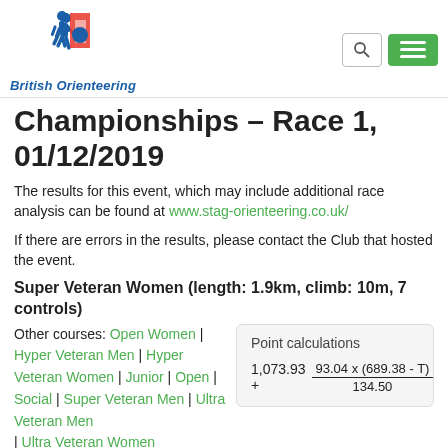British Orienteering
Championships – Race 1, 01/12/2019
The results for this event, which may include additional race analysis can be found at www.stag-orienteering.co.uk/
If there are errors in the results, please contact the Club that hosted the event.
Super Veteran Women (length: 1.9km, climb: 10m, 7 controls)
Other courses: Open Women | Hyper Veteran Men | Hyper Veteran Women | Junior | Open | Social | Super Veteran Men | Ultra Veteran Men | Ultra Veteran Women